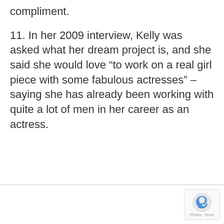compliment.
11. In her 2009 interview, Kelly was asked what her dream project is, and she said she would love “to work on a real girl piece with some fabulous actresses” – saying she has already been working with quite a lot of men in her career as an actress.
[Figure (other): reCAPTCHA badge with Privacy and Terms text]